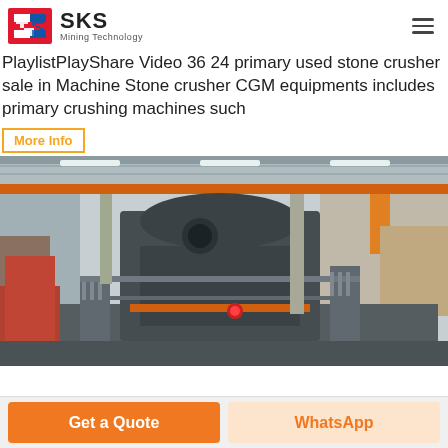SKS Mining Technology
PlaylistPlayShare Video 36 24 primary used stone crusher sale in Machine Stone crusher CGM equipments includes primary crushing machines such
More Info
[Figure (photo): Large industrial stone crusher machine inside a factory/warehouse with metal structure, orange crane rail overhead, grey equipment in foreground.]
Get a Quote
WhatsApp